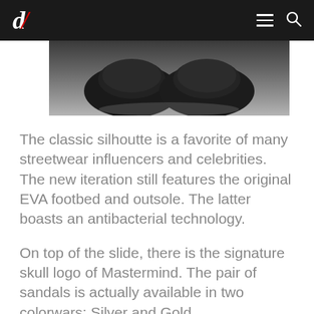d/ [logo] [hamburger menu] [search icon]
[Figure (photo): Partial view of dark/black sandals or shoes against a gray gradient background, cropped showing the top portion of the footwear]
The classic silhoutte is a favorite of many streetwear influencers and celebrities. The new iteration still features the original EVA footbed and outsole. The latter boasts an antibacterial technology.
On top of the slide, there is the signature skull logo of Mastermind. The pair of sandals is actually available in two colorwars: Silver and Gold.